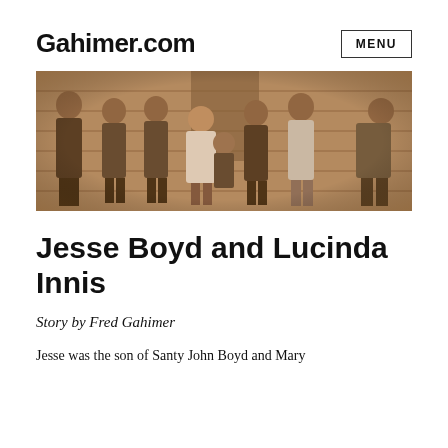Gahimer.com
[Figure (photo): Sepia-toned vintage photograph of a group of eight people — seven men and one woman — standing and posing outdoors in front of a wooden building. One elderly man is seated in the center front. They are dressed in early 20th-century attire.]
Jesse Boyd and Lucinda Innis
Story by Fred Gahimer
Jesse was the son of Santy John Boyd and Mary...